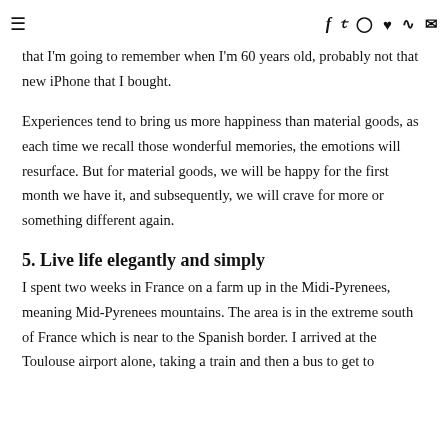≡  f  🐦  ◉  ♥  ☰  ✉
that I'm going to remember when I'm 60 years old, probably not that new iPhone that I bought.
Experiences tend to bring us more happiness than material goods, as each time we recall those wonderful memories, the emotions will resurface. But for material goods, we will be happy for the first month we have it, and subsequently, we will crave for more or something different again.
5. Live life elegantly and simply
I spent two weeks in France on a farm up in the Midi-Pyrenees, meaning Mid-Pyrenees mountains. The area is in the extreme south of France which is near to the Spanish border. I arrived at the Toulouse airport alone, taking a train and then a bus to get to